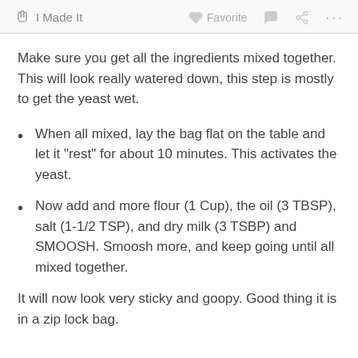I Made It    Favorite    ...
Make sure you get all the ingredients mixed together. This will look really watered down, this step is mostly to get the yeast wet.
When all mixed, lay the bag flat on the table and let it "rest" for about 10 minutes. This activates the yeast.
Now add and more flour (1 Cup), the oil (3 TBSP), salt (1-1/2 TSP), and dry milk (3 TSBP) and SMOOSH. Smoosh more, and keep going until all mixed together.
It will now look very sticky and goopy. Good thing it is in a zip lock bag.